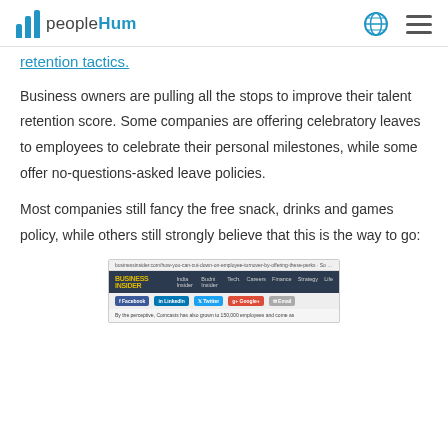peopleHum
retention tactics.
Business owners are pulling all the stops to improve their talent retention score. Some companies are offering celebratory leaves to employees to celebrate their personal milestones, while some offer no-questions-asked leave policies.
Most companies still fancy the free snack, drinks and games policy, while others still strongly believe that this is the way to go:
[Figure (screenshot): Screenshot of a Business Insider article page showing navigation bar, social sharing buttons, and the beginning of article text about Comcast employees.]